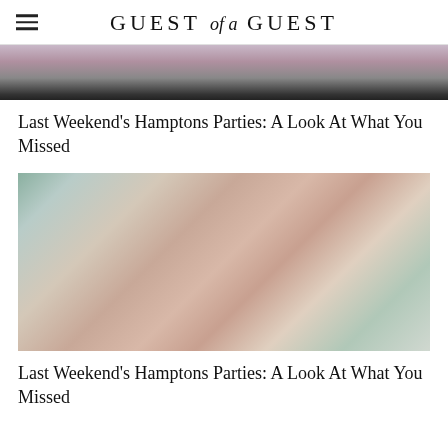GUEST of a GUEST
[Figure (photo): Partial photo of people at a party, cropped at top of page]
Last Weekend's Hamptons Parties: A Look At What You Missed
[Figure (photo): Two smiling women with long auburn hair at an outdoor party event]
Last Weekend's Hamptons Parties: A Look At What You Missed